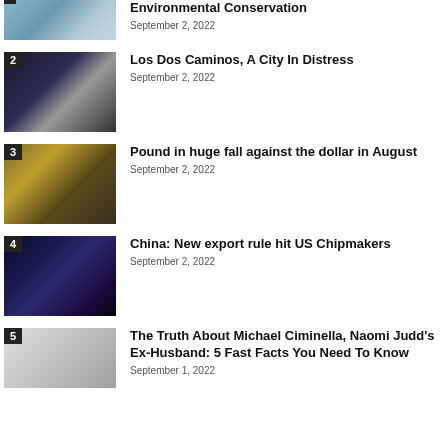Environmental Conservation
September 2, 2022
Los Dos Caminos, A City In Distress
September 2, 2022
Pound in huge fall against the dollar in August
September 2, 2022
China: New export rule hit US Chipmakers
September 2, 2022
The Truth About Michael Ciminella, Naomi Judd's Ex-Husband: 5 Fast Facts You Need To Know
September 1, 2022